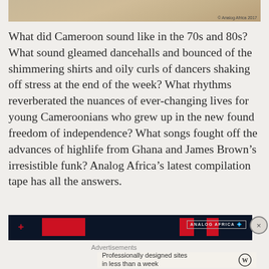[Figure (photo): Partial sepia-toned historical photo with copyright mark '© Analog Africa 2017']
What did Cameroon sound like in the 70s and 80s? What sound gleamed dancehalls and bounced of the shimmering shirts and oily curls of dancers shaking off stress at the end of the week? What rhythms reverberated the nuances of ever-changing lives for young Cameroonians who grew up in the new found freedom of independence? What songs fought off the advances of highlife from Ghana and James Brown's irresistible funk? Analog Africa's latest compilation tape has all the answers.
[Figure (photo): Analog Africa dark banner advertisement with red rectangles and logo]
Advertisements
Professionally designed sites in less than a week